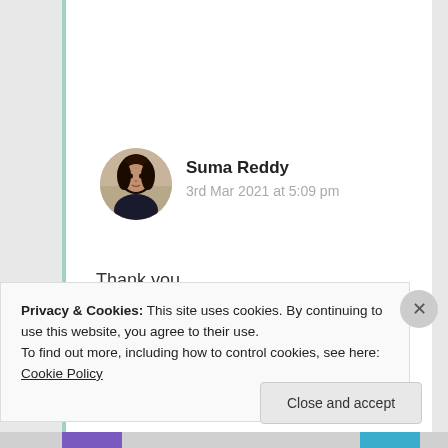[Figure (photo): Circular avatar photo of a woman with dark hair against a light background]
Suma Reddy
3rd Mar 2021 at 5:09 pm
Thank you
★ Like
Log in to Reply
Privacy & Cookies: This site uses cookies. By continuing to use this website, you agree to their use.
To find out more, including how to control cookies, see here: Cookie Policy
Close and accept